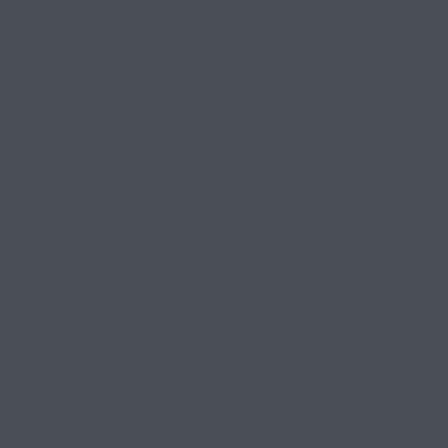благожелательное отношение к... факторы, стимулирующие поку... россиянами, украинцами, жител... Доброжелательность словаков, ... жизни, угодный климат с мягкой... Словакию иностранцев чтобы ж... учебы. Дети иммигрантов могут... Братиславы сиречь соседней В... чувствуют в стране без мегапол... многочисленными курортами. Стабильность экономики влияе... недвижимости Словакии. Она в... покупателей чистый необыкнов... очень богатых. Беспричинно, о... Делипаска внове купил виллу в... Но основную массу российских ... составляют среднеобеспеченн... сообразно карману купить зело... Словакией Австрии, отмечают с... Поэтому эта группа покупателе... близлежащей Словакии. От Вен... Братиславы всего 40 километро...